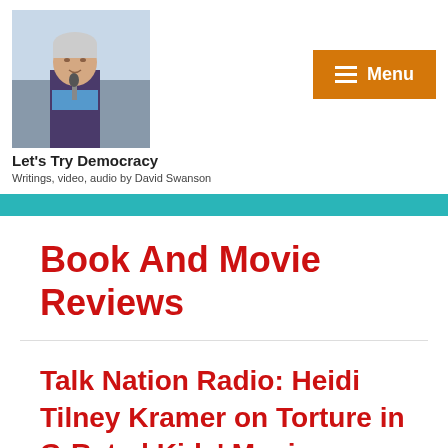[Figure (photo): Photo of a man speaking into a microphone outdoors, gray hair, wearing a blue scarf and dark jacket]
Let's Try Democracy
Writings, video, audio by David Swanson
[Figure (other): Orange Menu button with hamburger icon lines and text 'Menu']
Book And Movie Reviews
Talk Nation Radio: Heidi Tilney Kramer on Torture in G-Rated Kids' Movies